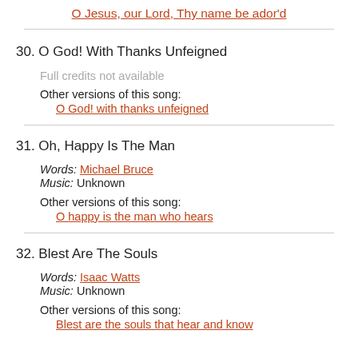O Jesus, our Lord, Thy name be ador'd
30.  O God! With Thanks Unfeigned
Full credits not available
Other versions of this song:
O God! with thanks unfeigned
31.  Oh, Happy Is The Man
Words: Michael Bruce
Music: Unknown
Other versions of this song:
O happy is the man who hears
32.  Blest Are The Souls
Words: Isaac Watts
Music: Unknown
Other versions of this song:
Blest are the souls that hear and know